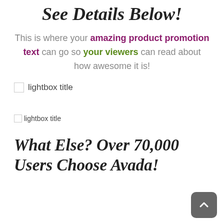See Details Below!
This is where your amazing product promotion text can go so your viewers can read about how awesome it is!
[Figure (other): Broken image placeholder with alt text 'lightbox title' (large)]
[Figure (other): Broken image placeholder with alt text 'lightbox title' (small)]
What Else? Over 70,000 Users Choose Avada!